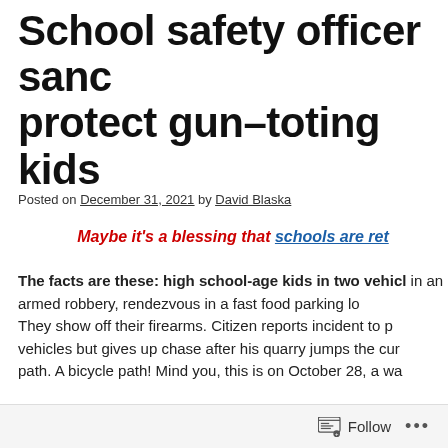School safety officer sanctioned to protect gun–toting kids
Posted on December 31, 2021 by David Blaska
Maybe it's a blessing that schools are re…
The facts are these: high school-age kids in two vehicles involved in an armed robbery, rendezvous in a fast food parking lot. They show off their firearms. Citizen reports incident to police. Officers chases vehicles but gives up chase after his quarry jumps the curb onto a bicycle path. A bicycle path! Mind you, this is on October 28, a wa…
Police obtain surveillance video from the sandwich shop b… Madison WI Metropolitan School District's co-director of s… reply. The next day, a Friday, police try again, are put on h…
Follow …